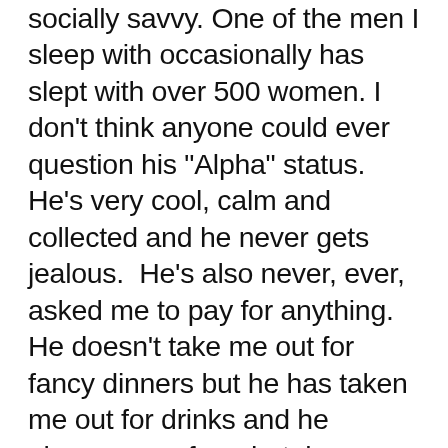socially savvy. One of the men I sleep with occasionally has slept with over 500 women. I don't think anyone could ever question his "Alpha" status.  He's very cool, calm and collected and he never gets jealous.  He's also never, ever, asked me to pay for anything.  He doesn't take me out for fancy dinners but he has taken me out for drinks and he always pays for a hotel room.  When my car broke down he bought transmission fluid, put it in and followed me to my destination (about an hour away) to make sure I was safe. The job of an Alpha, in the wild, is to look out for, protect and provide for those under him.  A man who is incapable of protecting and providing for women is not "alpha" by definition.  There would be